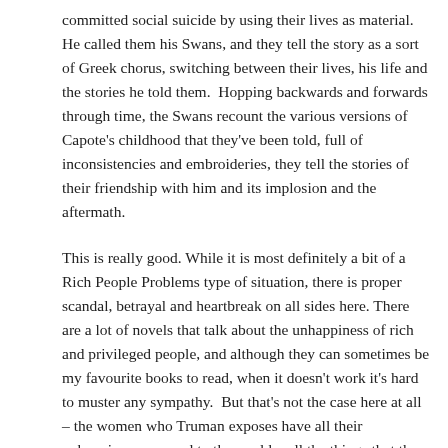committed social suicide by using their lives as material.  He called them his Swans, and they tell the story as a sort of Greek chorus, switching between their lives, his life and the stories he told them.  Hopping backwards and forwards through time, the Swans recount the various versions of Capote's childhood that they've been told, full of inconsistencies and embroideries, they tell the stories of their friendship with him and its implosion and the aftermath.
This is really good. While it is most definitely a bit of a Rich People Problems type of situation, there is proper scandal, betrayal and heartbreak on all sides here. There are a lot of novels that talk about the unhappiness of rich and privileged people, and although they can sometimes be my favourite books to read, when it doesn't work it's hard to muster any sympathy.  But that's not the case here at all – the women who Truman exposes have all their unhappiness exposed to the world – all the things that they have managed to ignore